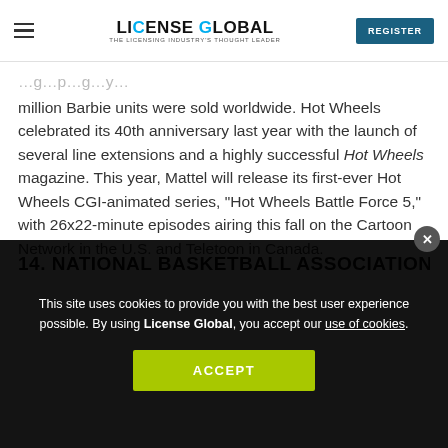LICENSE GLOBAL — THE LICENSING INDUSTRY'S THOUGHT LEADER | REGISTER
million Barbie units were sold worldwide. Hot Wheels celebrated its 40th anniversary last year with the launch of several line extensions and a highly successful Hot Wheels magazine. This year, Mattel will release its first-ever Hot Wheels CGI-animated series, "Hot Wheels Battle Force 5," with 26x22-minute episodes airing this fall on the Cartoon Network in the U.S. and Teletoon in Canada.
14. NATIONAL BASKETBALL ASSOCIATION
This site uses cookies to provide you with the best user experience possible. By using License Global, you accept our use of cookies.